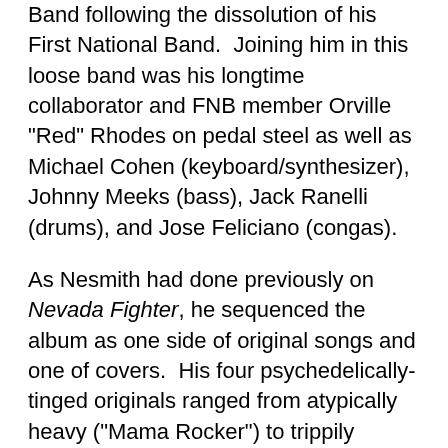Band following the dissolution of his First National Band. Joining him in this loose band was his longtime collaborator and FNB member Orville "Red" Rhodes on pedal steel as well as Michael Cohen (keyboard/synthesizer), Johnny Meeks (bass), Jack Ranelli (drums), and Jose Feliciano (congas).
As Nesmith had done previously on Nevada Fighter, he sequenced the album as one side of original songs and one of covers. His four psychedelically-tinged originals ranged from atypically heavy ("Mama Rocker") to trippily mellow ("Lazy Lady") and hypnotic ("In the Afternoon," "You Are My One"). Side Two's covers were eclectic, ranging from the George Jones chestnut "She Thinks I Still Care" to Pee Wee King's "Bonaparte's Retreat," a No. 4 hit for Kay Starr in 1950 that was successfully revived as a top five country entry for Glen Campbell in 1974. "Talking to the Wall"